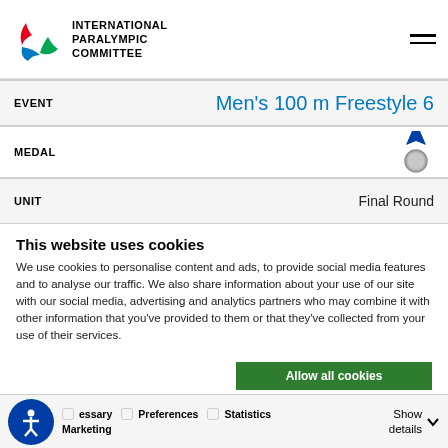International Paralympic Committee
| Field | Value |
| --- | --- |
| EVENT | Men's 100 m Freestyle 6 |
| MEDAL | (silver medal icon) |
| UNIT | Final Round |
This website uses cookies
We use cookies to personalise content and ads, to provide social media features and to analyse our traffic. We also share information about your use of our site with our social media, advertising and analytics partners who may combine it with other information that you've provided to them or that they've collected from your use of their services.
Allow all cookies | Allow selection | Use necessary cookies only
Necessary  Preferences  Statistics  Show details  Marketing